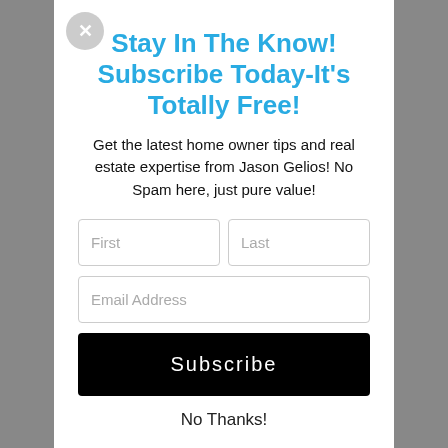Stay In The Know! Subscribe Today-It's Totally Free!
Get the latest home owner tips and real estate expertise from Jason Gelios! No Spam here, just pure value!
[Figure (screenshot): Subscription form with First, Last, and Email Address input fields, a Subscribe button, and a No Thanks link]
No Thanks!